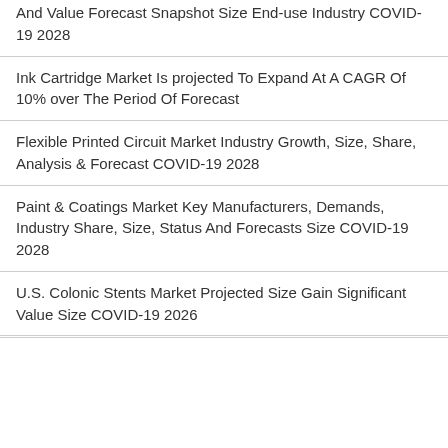And Value Forecast Snapshot Size End-use Industry COVID-19 2028
Ink Cartridge Market Is projected To Expand At A CAGR Of 10% over The Period Of Forecast
Flexible Printed Circuit Market Industry Growth, Size, Share, Analysis & Forecast COVID-19 2028
Paint & Coatings Market Key Manufacturers, Demands, Industry Share, Size, Status And Forecasts Size COVID-19 2028
U.S. Colonic Stents Market Projected Size Gain Significant Value Size COVID-19 2026